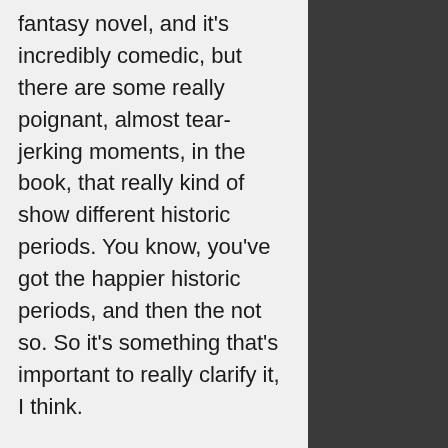fantasy novel, and it's incredibly comedic, but there are some really poignant, almost tear-jerking moments, in the book, that really kind of show different historic periods. You know, you've got the happier historic periods, and then the not so. So it's something that's important to really clarify it, I think.
14:40
Charlie: But I am going to go back to the comedy briefly because you've got this group of people in your camper van, it's great, this little touring holiday it's a very personalised intimate experience for everyone. And the group of campers that join Max and